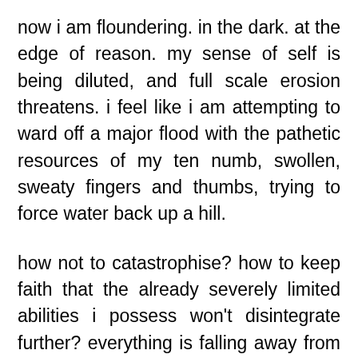now i am floundering. in the dark. at the edge of reason. my sense of self is being diluted, and full scale erosion threatens. i feel like i am attempting to ward off a major flood with the pathetic resources of my ten numb, swollen, sweaty fingers and thumbs, trying to force water back up a hill.
how not to catastrophise? how to keep faith that the already severely limited abilities i possess won't disintegrate further? everything is falling away from me, and simultaneously crashing in over my head. slipping and sliding, stepping